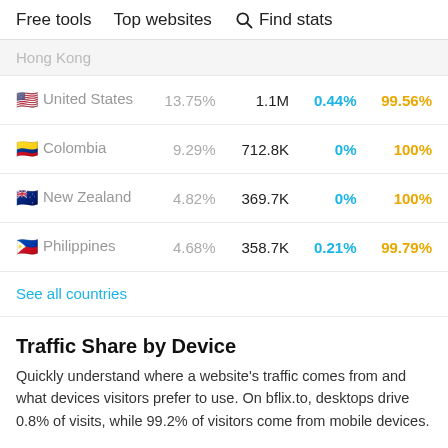Free tools   Top websites   Find stats
Hong Kong
| Country | Share | Visits | Desktop | Mobile |
| --- | --- | --- | --- | --- |
| United States | 13.75% | 1.1M | 0.44% | 99.56% |
| Colombia | 9.29% | 712.8K | 0% | 100% |
| New Zealand | 4.82% | 369.7K | 0% | 100% |
| Philippines | 4.68% | 358.7K | 0.21% | 99.79% |
See all countries
Traffic Share by Device
Quickly understand where a website's traffic comes from and what devices visitors prefer to use. On bflix.to, desktops drive 0.8% of visits, while 99.2% of visitors come from mobile devices.